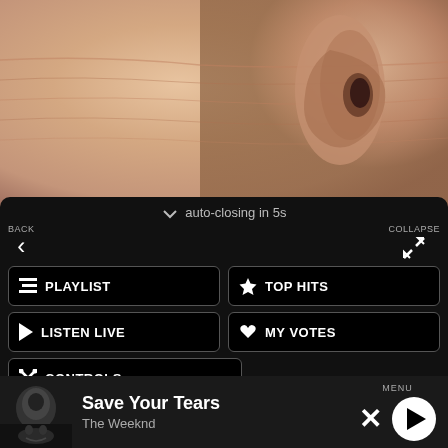[Figure (photo): Close-up photo of an ear and skin, flesh-toned]
auto-closing in 5s
BACK
COLLAPSE
PLAYLIST
TOP HITS
LISTEN LIVE
MY VOTES
CONTROLS
Data opt-out
Save Your Tears
The Weeknd
MENU